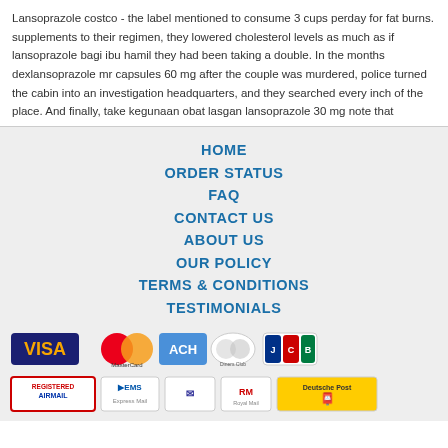Lansoprazole costco - the label mentioned to consume 3 cups perday for fat burns. supplements to their regimen, they lowered cholesterol levels as much as if lansoprazole bagi ibu hamil they had been taking a double. In the months dexlansoprazole mr capsules 60 mg after the couple was murdered, police turned the cabin into an investigation headquarters, and they searched every inch of the place. And finally, take kegunaan obat lasgan lansoprazole 30 mg note that
HOME
ORDER STATUS
FAQ
CONTACT US
ABOUT US
OUR POLICY
TERMS & CONDITIONS
TESTIMONIALS
[Figure (logo): Payment icons: VISA, MasterCard, ACH, Diners Club, JCB]
[Figure (logo): Shipping icons: Registered Airmail, EMS, USPS, Royal Mail, Deutsche Post]